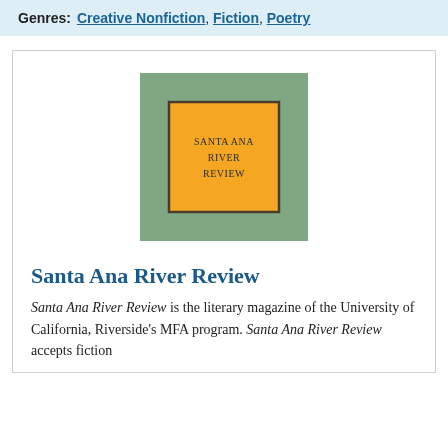Genres: Creative Nonfiction, Fiction, Poetry
[Figure (logo): Santa Ana River Review logo: a sage green square background with a centered amber/orange square outlined in dark brown, containing the text 'SANTA ANA RIVER REVIEW' in dark serif letters.]
Santa Ana River Review
Santa Ana River Review is the literary magazine of the University of California, Riverside's MFA program. Santa Ana River Review accepts fiction